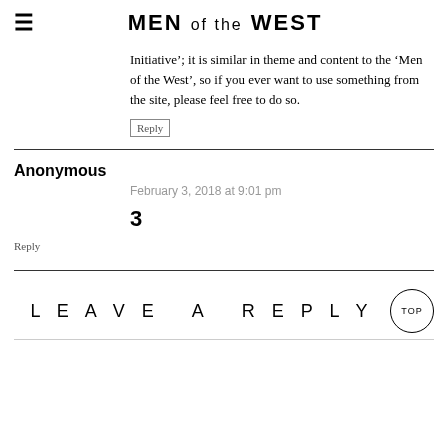MEN OF THE WEST
Initiative’; it is similar in theme and content to the ‘Men of the West’, so if you ever want to use something from the site, please feel free to do so.
Reply
Anonymous
February 3, 2018 at 9:01 pm
3
Reply
LEAVE A REPLY